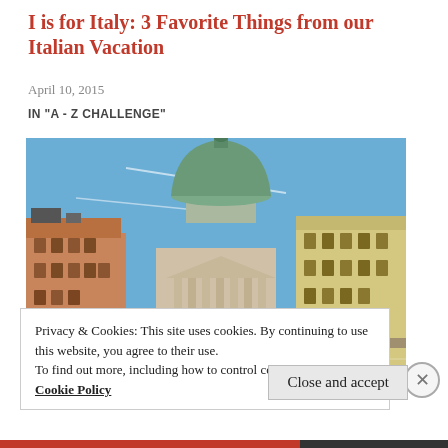I is for Italy: 3 Favorite Things from our Italian Vacation
April 10, 2015
IN "A - Z CHALLENGE"
[Figure (photo): Photograph of an Italian cityscape featuring a large domed church (likely San Simeon Piccolo in Venice) with a green copper dome and neoclassical portico, surrounded by historic buildings along a canal waterfront under a blue sky.]
Privacy & Cookies: This site uses cookies. By continuing to use this website, you agree to their use.
To find out more, including how to control cookies, see here: Cookie Policy
Close and accept